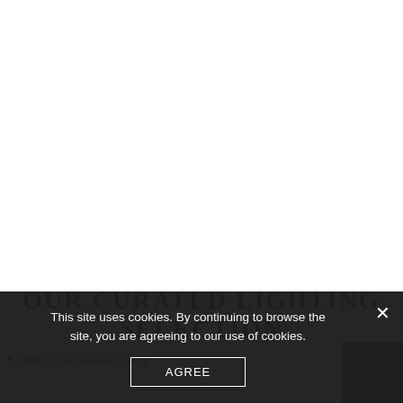OUR CURATED LIGHTING SELECTION
Blakey Suspension Lamp
This site uses cookies. By continuing to browse the site, you are agreeing to our use of cookies.
AGREE